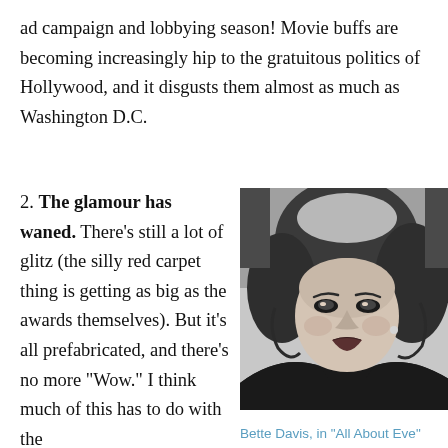ad campaign and lobbying season! Movie buffs are becoming increasingly hip to the gratuitous politics of Hollywood, and it disgusts them almost as much as Washington D.C.
2. The glamour has waned. There's still a lot of glitz (the silly red carpet thing is getting as big as the awards themselves). But it's all prefabricated, and there's no more "Wow." I think much of this has to do with the
[Figure (photo): Black and white photograph of Bette Davis in the film 'All About Eve', showing her with styled dark hair, wearing an off-shoulder dark dress, looking to the side.]
Bette Davis, in "All About Eve"